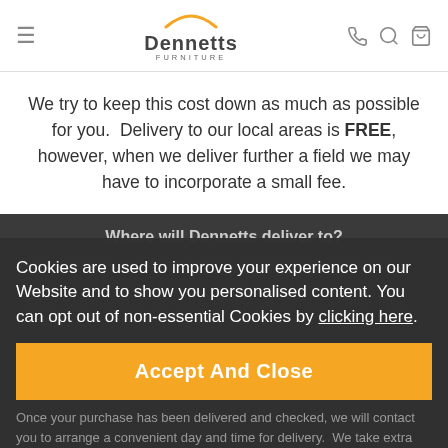Dennetts FURNITURE
We try to keep this cost down as much as possible for you. Delivery to our local areas is FREE, however, when we deliver further a field we may have to incorporate a small fee.
Where will Dennetts deliver to?
Furniture bought instore is eligible for delivery to the Birmingham, Solihull, West Midlands & Warwickshire areas. Dennetts will also deliver further afield if necessary. Please ask about your area if you are unsure.
Cookies are used to improve your experience on our Website and to show you personalised content. You can opt out of non-essential Cookies by clicking here.
Accept And Close
Once your purchase has been delivered and checked, we will contact you to arrange a convenient day and time for delivery. We take extra care in